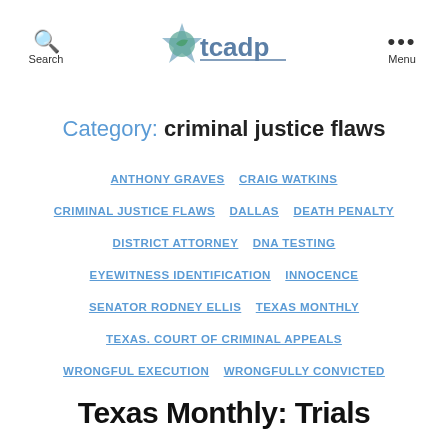Search | tcadp | Menu
Category: criminal justice flaws
ANTHONY GRAVES
CRAIG WATKINS
CRIMINAL JUSTICE FLAWS
DALLAS
DEATH PENALTY
DISTRICT ATTORNEY
DNA TESTING
EYEWITNESS IDENTIFICATION
INNOCENCE
SENATOR RODNEY ELLIS
TEXAS MONTHLY
TEXAS. COURT OF CRIMINAL APPEALS
WRONGFUL EXECUTION
WRONGFULLY CONVICTED
Texas Monthly: Trials